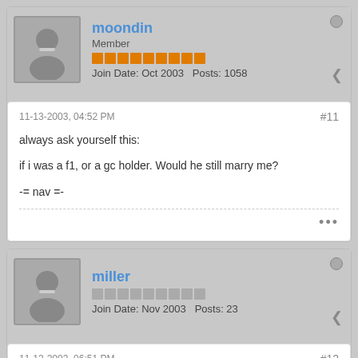moondin
Member
Join Date: Oct 2003  Posts: 1058
11-13-2003, 04:52 PM
#11
always ask yourself this:
if i was a f1, or a gc holder. Would he still marry me?
-= nav =-
miller
Join Date: Nov 2003  Posts: 23
11-13-2003, 06:51 PM
#12
to sadgirl23